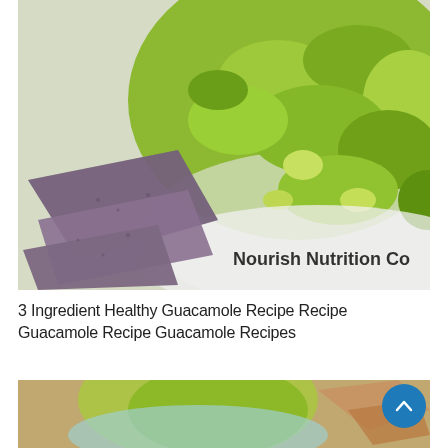[Figure (photo): Close-up photo of guacamole in a white bowl with blue corn tortilla chips on the side. Text watermark reads 'Nourish Nutrition Co' in bold black font near the bottom of the image.]
3 Ingredient Healthy Guacamole Recipe Recipe Guacamole Recipe Guacamole Recipes
[Figure (photo): Partial photo of guacamole in a bowl with tortilla chips visible at the bottom of the page, cropped. A blue circular scroll-to-top button is overlaid in the bottom right corner.]